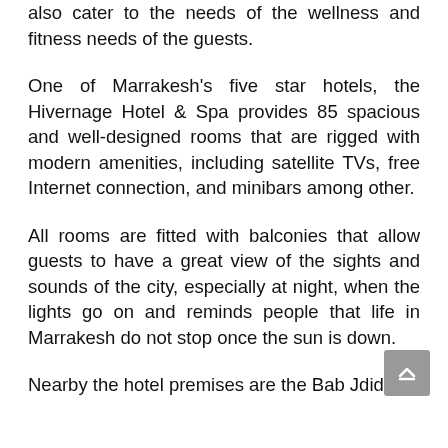also cater to the needs of the wellness and fitness needs of the guests.
One of Marrakesh's five star hotels, the Hivernage Hotel & Spa provides 85 spacious and well-designed rooms that are rigged with modern amenities, including satellite TVs, free Internet connection, and minibars among other.
All rooms are fitted with balconies that allow guests to have a great view of the sights and sounds of the city, especially at night, when the lights go on and reminds people that life in Marrakesh do not stop once the sun is down.
Nearby the hotel premises are the Bab Jdid